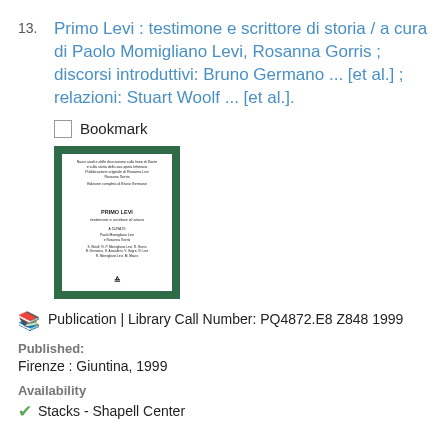13. Primo Levi : testimone e scrittore di storia / a cura di Paolo Momigliano Levi, Rosanna Gorris ; discorsi introduttivi: Bruno Germano ... [et al.] ; relazioni: Stuart Woolf ... [et al.].
Bookmark
[Figure (photo): Book cover of Primo Levi : testimone e scrittore di storia, showing a green border with white inner page and text]
Publication | Library Call Number: PQ4872.E8 Z848 1999
Published: Firenze : Giuntina, 1999
Availability
Stacks - Shapell Center